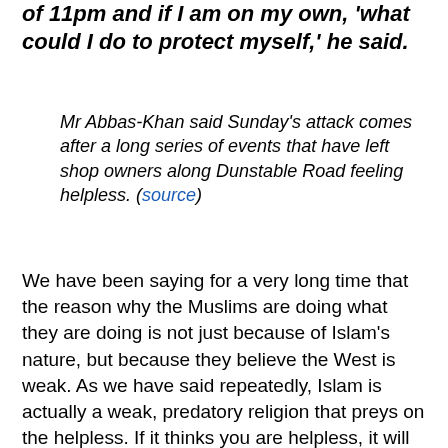of 11pm and if I am on my own, 'what could I do to protect myself,' he said.
Mr Abbas-Khan said Sunday's attack comes after a long series of events that have left shop owners along Dunstable Road feeling helpless. (source)
We have been saying for a very long time that the reason why the Muslims are doing what they are doing is not just because of Islam's nature, but because they believe the West is weak. As we have said repeatedly, Islam is actually a weak, predatory religion that preys on the helpless. If it thinks you are helpless, it will attack you like a pack of hyenas. However, if you are strong, it may test you, but if you show force, it will leave you alone.